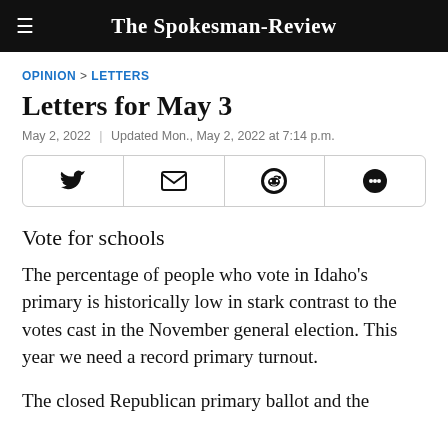The Spokesman-Review
OPINION > LETTERS
Letters for May 3
May 2, 2022 | Updated Mon., May 2, 2022 at 7:14 p.m.
[Figure (other): Social share buttons: Twitter, Email, Reddit, Comments]
Vote for schools
The percentage of people who vote in Idaho’s primary is historically low in stark contrast to the votes cast in the November general election. This year we need a record primary turnout.
The closed Republican primary ballot and the